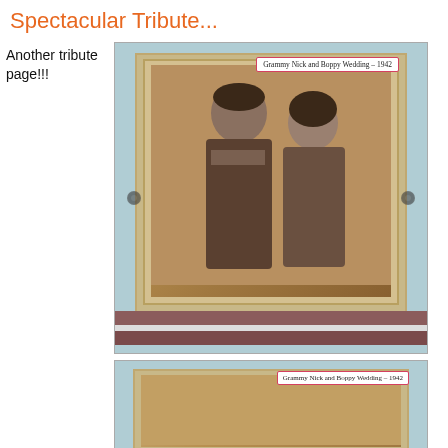Spectacular Tribute...
Another tribute page!!!
[Figure (photo): Scrapbook page with a sepia-toned wedding photo of Grammy Nick and Boppy Wedding - 1942, mounted on light blue cardstock with tan mat borders, decorative dot embellishments on sides, and horizontal brown/white stripes at the bottom. Label reads: Grammy Nick and Boppy Wedding - 1942.]
[Figure (photo): Partial view of a second scrapbook page, similar style, with label reading: Grammy Nick and Boppy Wedding - 1942.]